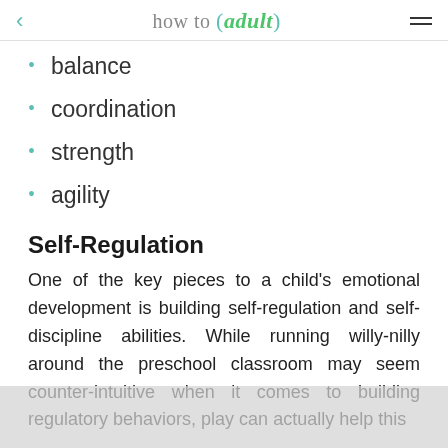how to (adult)
balance
coordination
strength
agility
Self-Regulation
One of the key pieces to a child's emotional development is building self-regulation and self-discipline abilities. While running willy-nilly around the preschool classroom may seem counter-intuitive when it comes to building regulatory behaviors, play can actually help this